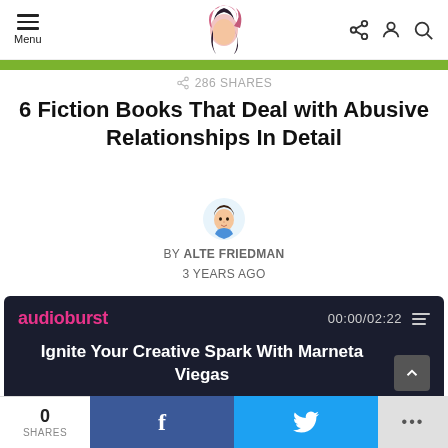Menu | [logo] | [share icon] [user icon] [search icon]
[Figure (photo): Green image strip at top of article]
286 SHARES
6 Fiction Books That Deal with Abusive Relationships In Detail
[Figure (illustration): Circular avatar illustration of author Alte Friedman]
BY ALTE FRIEDMAN
3 YEARS AGO
[Figure (screenshot): Audioburst audio player widget with dark background. Shows logo 'audioburst' in pink, time 00:00/02:22, and title 'Ignite Your Creative Spark With Marneta Viegas']
0 SHARES | f | [Twitter bird] | ...